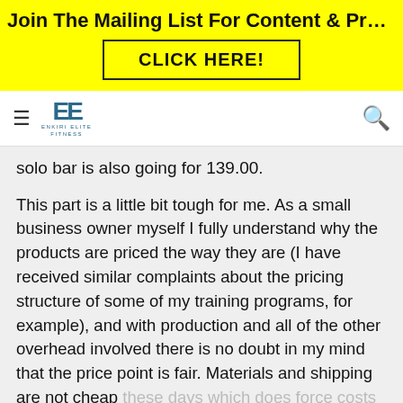Join The Mailing List For Content & Program Upda...
[Figure (logo): Enkiri Elite Fitness logo with hamburger menu and search icon]
solo bar is also going for 139.00.
This part is a little bit tough for me. As a small business owner myself I fully understand why the products are priced the way they are (I have received similar complaints about the pricing structure of some of my training programs, for example), and with production and all of the other overhead involved there is no doubt in my mind that the price point is fair. Materials and shipping are not cheap these days which does force costs to go up…